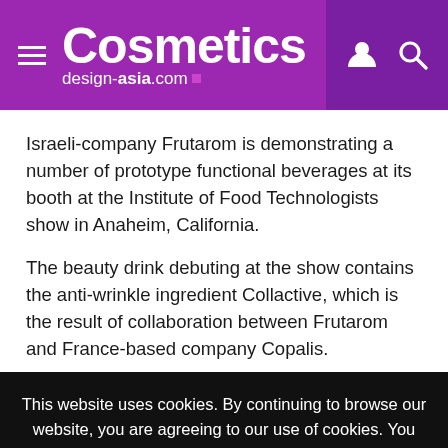Cosmetics design-asia.com
Israeli-company Frutarom is demonstrating a number of prototype functional beverages at its booth at the Institute of Food Technologists show in Anaheim, California.
The beauty drink debuting at the show contains the anti-wrinkle ingredient Collactive, which is the result of collaboration between Frutarom and France-based company Copalis.
This website uses cookies. By continuing to browse our website, you are agreeing to our use of cookies. You can learn more about cookies by visiting our privacy & cookies policy page.
I Agree